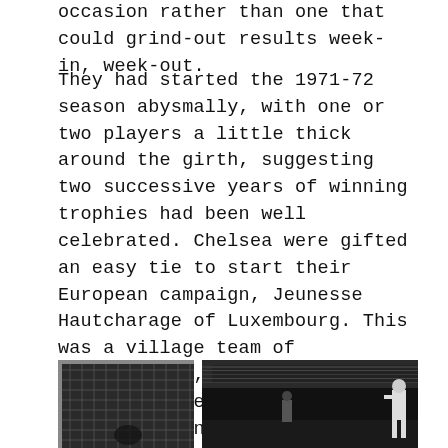occasion rather than one that could grind-out results week-in, week-out.
They had started the 1971-72 season abysmally, with one or two players a little thick around the girth, suggesting two successive years of winning trophies had been well celebrated. Chelsea were gifted an easy tie to start their European campaign, Jeunesse Hautcharage of Luxembourg. This was a village team of steelworkers, hairdressers and butchers. There was player with one armand another with taped-on spectacles. Little wonder that over two legs, Chelsea won 21-0 with Peter Osgood, who had been placed on the transfer list by Sexton after the first two league games for a bad attitude and "not trying", scoring eight over the two games.
[Figure (photo): Two black and white photographs side by side. Left photo shows a football goal net. Right photo shows a football scene with a player visible against a dark background with crowd visible.]